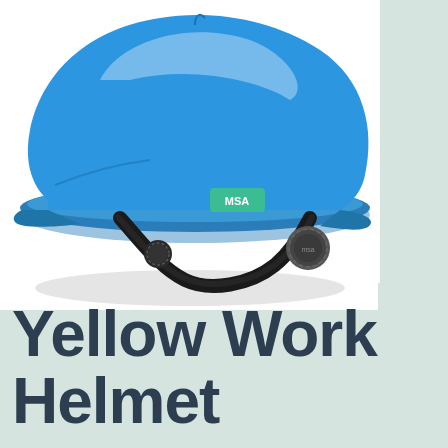[Figure (photo): A blue MSA full-brim hard hat (work helmet) shown in profile view against a white background. The helmet is bright blue with an MSA logo badge on the front brim. A black ratchet suspension system with MSA-branded adjustment knob is visible at the rear.]
Yellow Work Helmet